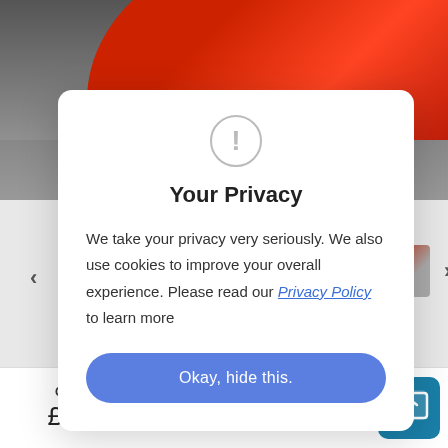[Figure (screenshot): Background showing a red car photo at the top, thumbnail images of a red car, navigation arrows, partially visible text 'LINE X BLUE' and 'ies', price bar at bottom with CASH PRICE £29,000 and PER MONTH £390.34, and a chat widget icon.]
Your Privacy
We take your privacy very seriously. We also use cookies to improve your overall experience. Please read our Privacy Policy to learn more
Okay, hide this.
CASH PRICE
£29,000
PER MONTH
£390.34